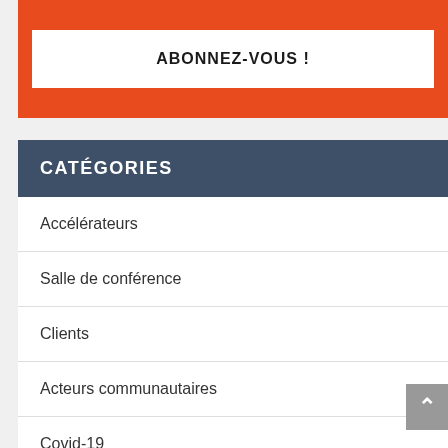ABONNEZ-VOUS !
CATÉGORIES
Accélérateurs
Salle de conférence
Clients
Acteurs communautaires
Covid-19
Confidentialité des données
Saniteux propres